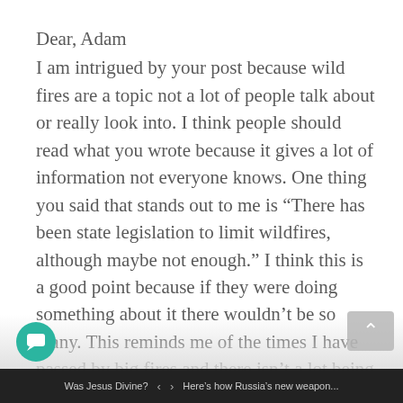Dear, Adam
I am intrigued by your post because wild fires are a topic not a lot of people talk about or really look into. I think people should read what you wrote because it gives a lot of information not everyone knows. One thing you said that stands out to me is “There has been state legislation to limit wildfires, although maybe not enough.” I think this is a good point because if they were doing something about it there wouldn’t be so many. This reminds me of the times I have passed by big fires and there isn’t a lot being done about it. Thank you for your project. I look forward to what you write next because you are really
Was Jesus Divine? ‹ › Here’s how Russia’s new weapon...